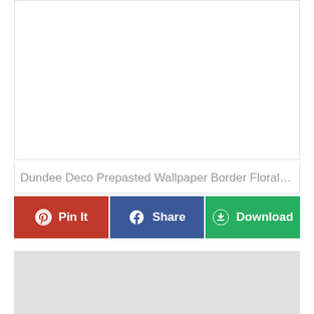[Figure (other): White empty image area with border]
Dundee Deco Prepasted Wallpaper Border Floral Gree...
[Figure (infographic): Three action buttons: Pin It (red/Pinterest), Share (blue/Facebook), Download (green)]
[Figure (other): Light gray empty image placeholder area]